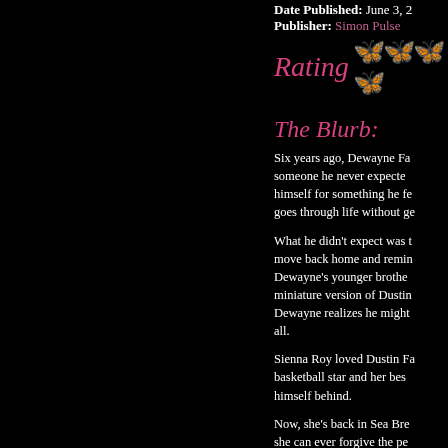Date Published: June 3, 2...
Publisher: Simon Pulse
Rating 🦋🦋🦋🦋
The Blurb:
Six years ago, Dewayne Fa... someone he never expecte... himself for something he fe... goes through life without ge...
What he didn't expect was t... move back home and remin... Dewayne's younger brothe... miniature version of Dustin ... Dewayne realizes he might... all.
Sienna Roy loved Dustin Fa... basketball star and her bes... himself behind.
Now, she's back in Sea Bre... she can ever forgive the pe...